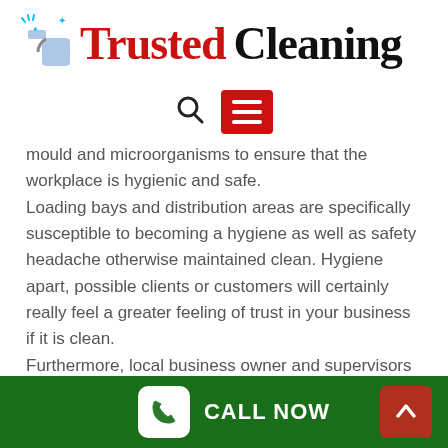[Figure (logo): Trusted Cleaning logo with spray bottle icon. 'Trusted' in red serif font, 'Cleaning' in black serif font.]
[Figure (infographic): Navigation bar with a search icon (magnifying glass) and a red hamburger menu button with three white lines.]
mould and microorganisms to ensure that the workplace is hygienic and safe.
Loading bays and distribution areas are specifically susceptible to becoming a hygiene as well as safety headache otherwise maintained clean. Hygiene apart, possible clients or customers will certainly really feel a greater feeling of trust in your business if it is clean.
Furthermore, local business owner and supervisors are also obliged to be aware of ecological based guidelines
CALL NOW